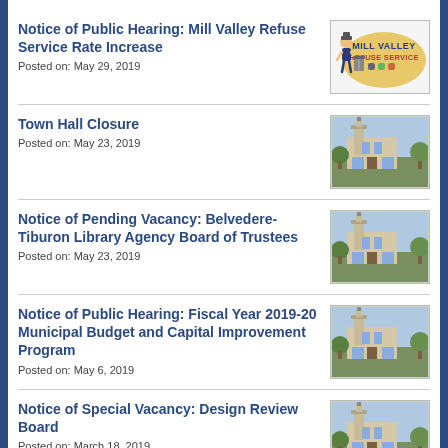Notice of Public Hearing: Mill Valley Refuse Service Rate Increase
Posted on: May 29, 2019
[Figure (logo): Mill Valley Refuse Service logo with cartoon garbage man]
Town Hall Closure
Posted on: May 23, 2019
[Figure (photo): Photo of Town Hall building with clock tower]
Notice of Pending Vacancy: Belvedere-Tiburon Library Agency Board of Trustees
Posted on: May 23, 2019
[Figure (photo): Photo of Town Hall building with clock tower]
Notice of Public Hearing: Fiscal Year 2019-20 Municipal Budget and Capital Improvement Program
Posted on: May 6, 2019
[Figure (photo): Photo of Town Hall building with clock tower]
Notice of Special Vacancy: Design Review Board
Posted on: March 18, 2019
[Figure (photo): Photo of Town Hall building with clock tower]